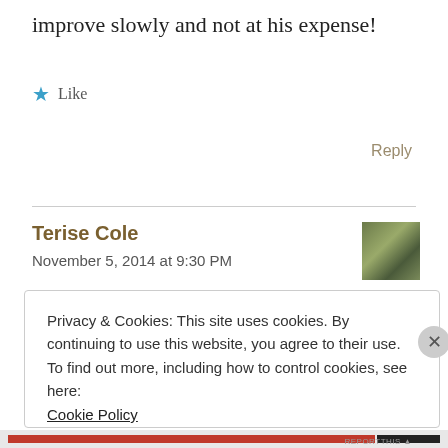improve slowly and not at his expense!
Like
Reply
Terise Cole
November 5, 2014 at 9:30 PM
Privacy & Cookies: This site uses cookies. By continuing to use this website, you agree to their use. To find out more, including how to control cookies, see here: Cookie Policy
Close and accept